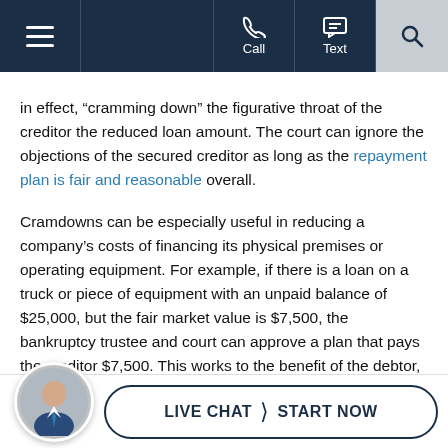Navigation bar with hamburger menu, Call and Text buttons, and search icon
in effect, “cramming down” the figurative throat of the creditor the reduced loan amount. The court can ignore the objections of the secured creditor as long as the repayment plan is fair and reasonable overall.
Cramdowns can be especially useful in reducing a company’s costs of financing its physical premises or operating equipment. For example, if there is a loan on a truck or piece of equipment with an unpaid balance of $25,000, but the fair market value is $7,500, the bankruptcy trustee and court can approve a plan that pays the creditor $7,500. This works to the benefit of the debtor, who can retain use of the equipment at reduced cost while freeing funds for repayment of other debts, all of which can help keep the business operating.
LIVE CHAT | START NOW (live chat widget with attorney avatar)